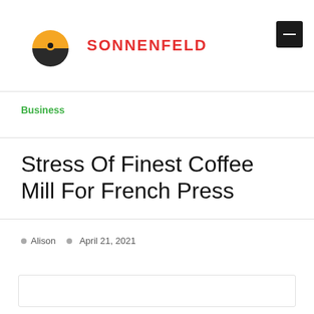SONNENFELD
Business
Stress Of Finest Coffee Mill For French Press
Alison  April 21, 2021
[Figure (other): Empty image placeholder box at bottom of page]